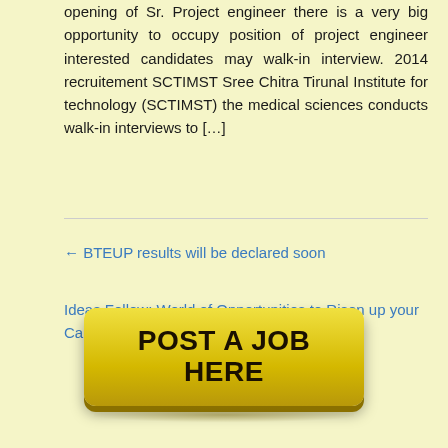opening of Sr. Project engineer there is a very big opportunity to occupy position of project engineer interested candidates may walk-in interview. 2014 recruitement SCTIMST Sree Chitra Tirunal Institute for technology (SCTIMST) the medical sciences conducts walk-in interviews to […]
← BTEUP results will be declared soon
Ideas Follow: World of Opportunities to Risen up your Career →
[Figure (other): Yellow button with bold text reading POST A JOB HERE]